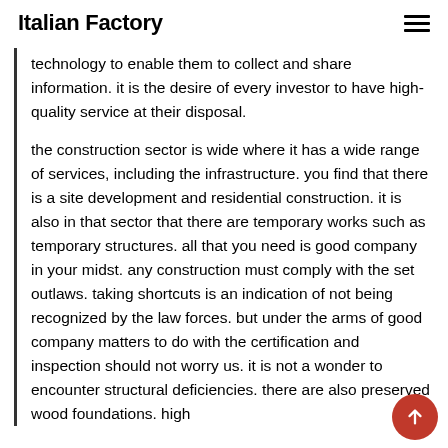Italian Factory
technology to enable them to collect and share information. it is the desire of every investor to have high-quality service at their disposal.
the construction sector is wide where it has a wide range of services, including the infrastructure. you find that there is a site development and residential construction. it is also in that sector that there are temporary works such as temporary structures. all that you need is good company in your midst. any construction must comply with the set outlaws. taking shortcuts is an indication of not being recognized by the law forces. but under the arms of good company matters to do with the certification and inspection should not worry us. it is not a wonder to encounter structural deficiencies. there are also preserved wood foundations. high